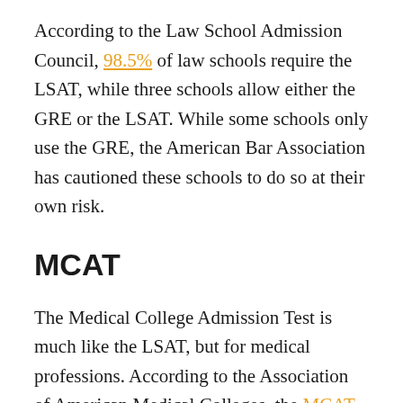According to the Law School Admission Council, 98.5% of law schools require the LSAT, while three schools allow either the GRE or the LSAT. While some schools only use the GRE, the American Bar Association has cautioned these schools to do so at their own risk.
MCAT
The Medical College Admission Test is much like the LSAT, but for medical professions. According to the Association of American Medical Colleges, the MCAT tests “problem solving, critical thinking, and knowledge of natural, behavioral, and social science concepts and principles prerequisite to the study of